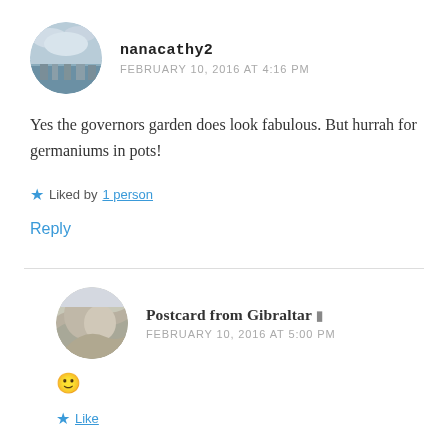[Figure (photo): Circular avatar photo of a marina with boats and cloudy sky]
nanacathy2
FEBRUARY 10, 2016 AT 4:16 PM
Yes the governors garden does look fabulous. But hurrah for germaniums in pots!
★ Liked by 1 person
Reply
[Figure (photo): Circular avatar photo showing a painted mountainous landscape, possibly Gibraltar rock]
Postcard from Gibraltar
FEBRUARY 10, 2016 AT 5:00 PM
🙂
★ Like